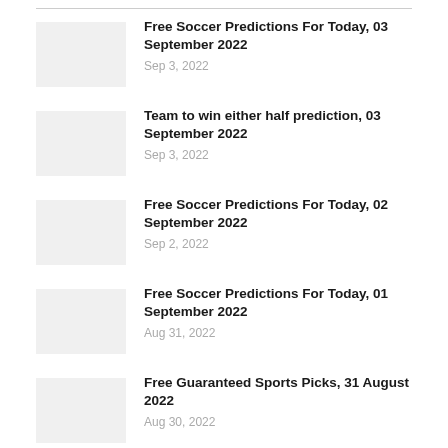Free Soccer Predictions For Today, 03 September 2022 — Sep 3, 2022
Team to win either half prediction, 03 September 2022 — Sep 3, 2022
Free Soccer Predictions For Today, 02 September 2022 — Sep 2, 2022
Free Soccer Predictions For Today, 01 September 2022 — Aug 31, 2022
Free Guaranteed Sports Picks, 31 August 2022 — Aug 30, 2022